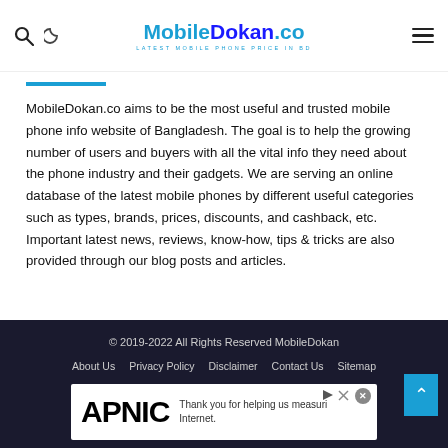MobileDokan.co — Latest Mobile Phone Price in BD
MobileDokan.co aims to be the most useful and trusted mobile phone info website of Bangladesh. The goal is to help the growing number of users and buyers with all the vital info they need about the phone industry and their gadgets. We are serving an online database of the latest mobile phones by different useful categories such as types, brands, prices, discounts, and cashback, etc. Important latest news, reviews, know-how, tips & tricks are also provided through our blog posts and articles.
© 2019-2022 All Rights Reserved MobileDokan
About Us   Privacy Policy   Disclaimer   Contact Us   Sitemap